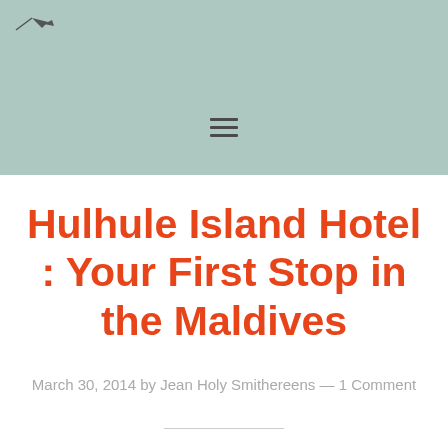[Figure (illustration): Website header banner with muted teal/sage green background color and a small logo with airplane icon in the top left, plus a hamburger menu icon centered in the lower portion of the header]
Hulhule Island Hotel : Your First Stop in the Maldives
March 30, 2014 by Jean Holy Smithereens — 1 Comment